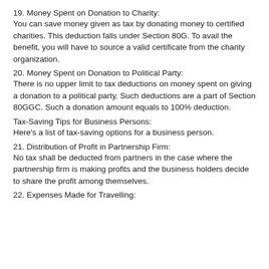19. Money Spent on Donation to Charity:
You can save money given as tax by donating money to certified charities. This deduction falls under Section 80G. To avail the benefit, you will have to source a valid certificate from the charity organization.
20. Money Spent on Donation to Political Party:
There is no upper limit to tax deductions on money spent on giving a donation to a political party. Such deductions are a part of Section 80GGC. Such a donation amount equals to 100% deduction.
Tax-Saving Tips for Business Persons:
Here's a list of tax-saving options for a business person.
21. Distribution of Profit in Partnership Firm:
No tax shall be deducted from partners in the case where the partnership firm is making profits and the business holders decide to share the profit among themselves.
22. Expenses Made for Travelling: